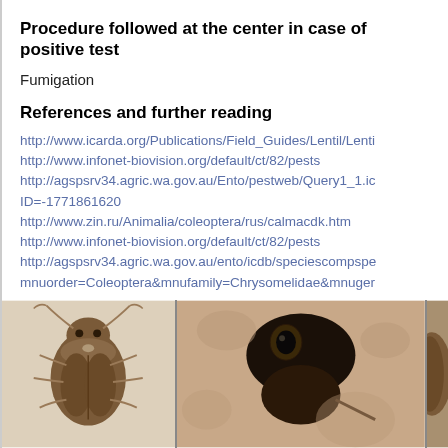Procedure followed at the center in case of positive test
Fumigation
References and further reading
http://www.icarda.org/Publications/Field_Guides/Lentil/Lenti
http://www.infonet-biovision.org/default/ct/82/pests
http://agspsrv34.agric.wa.gov.au/Ento/pestweb/Query1_1.ic
ID=-1771861620
http://www.zin.ru/Animalia/coleoptera/rus/calmacdk.htm
http://www.infonet-biovision.org/default/ct/82/pests
http://agspsrv34.agric.wa.gov.au/ento/icdb/speciescompspe
mnuorder=Coleoptera&mnufamily=Chrysomelidae&mnuger
[Figure (photo): Three photographs of beetles: left shows a top-down view of a small brown beetle, center shows a close-up of a beetle's head/body detail, right shows partial view of another beetle specimen.]